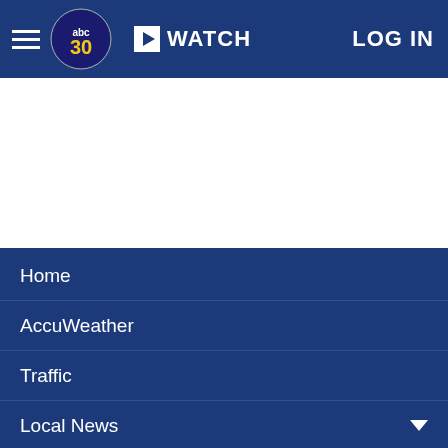abc30 | WATCH | LOG IN
[Figure (screenshot): White advertisement area placeholder]
Home
AccuWeather
Traffic
Local News
Categories
Station Info
Shows